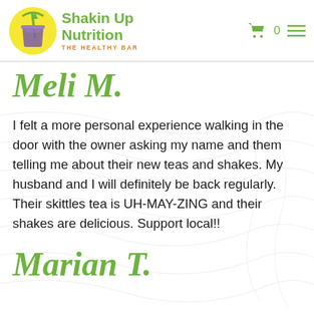[Figure (logo): Shakin Up Nutrition - The Healthy Bar logo with yellow circle containing a smoothie cup, green brand name text, and orange tagline]
Meli M.
I felt a more personal experience walking in the door with the owner asking my name and them telling me about their new teas and shakes. My husband and I will definitely be back regularly. Their skittles tea is UH-MAY-ZING and their shakes are delicious. Support local!!
Marian T.